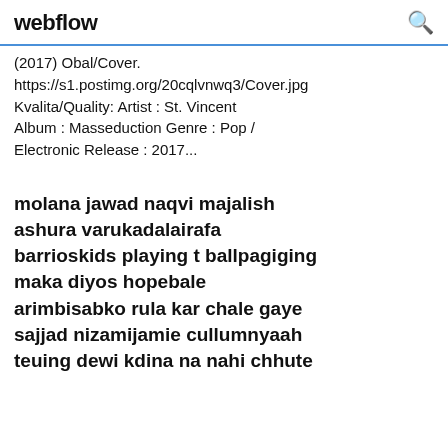webflow
(2017) Obal/Cover. https://s1.postimg.org/20cqlvnwq3/Cover.jpg Kvalita/Quality: Artist : St. Vincent Album : Masseduction Genre : Pop / Electronic Release : 2017...
molana jawad naqvi majalish ashura varukadalairafa barrioskids playing t ballpagiging maka diyos hopebale arimbisabko rula kar chale gaye sajjad nizamijamie cullumnyaah teuing dewi kdina na nahi chhute